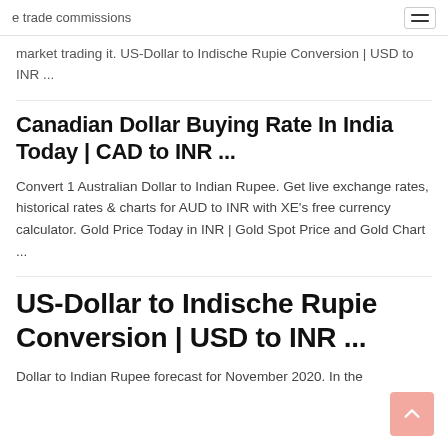e trade commissions
market trading it. US-Dollar to Indische Rupie Conversion | USD to INR ...
Canadian Dollar Buying Rate In India Today | CAD to INR ...
Convert 1 Australian Dollar to Indian Rupee. Get live exchange rates, historical rates & charts for AUD to INR with XE's free currency calculator. Gold Price Today in INR | Gold Spot Price and Gold Chart ...
US-Dollar to Indische Rupie Conversion | USD to INR ...
Dollar to Indian Rupee forecast for November 2020. In the